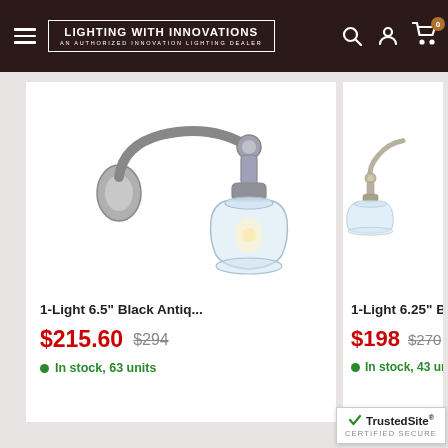LIGHTING WITH INNOVATIONS — AN AUTHORIZED INNOVATION LIGHTING DEALER
[Figure (photo): Wall sconce light fixture with black antique arm and clear glass shade]
1-Light 6.5" Black Antiq...
$215.60  $294
In stock, 63 units
[Figure (photo): Wall sconce light fixture with brushed nickel arm and clear cone glass shade, partially visible]
1-Light 6.25" Brushe...
$198  $270
In stock, 43 units
[Figure (logo): TrustedSite Certified Secure badge]